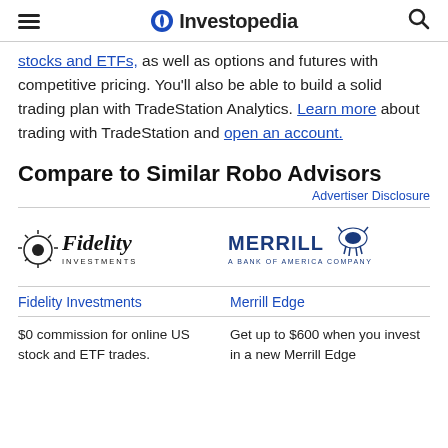Investopedia
stocks and ETFs, as well as options and futures with competitive pricing. You'll also be able to build a solid trading plan with TradeStation Analytics. Learn more about trading with TradeStation and open an account.
Compare to Similar Robo Advisors
Advertiser Disclosure
[Figure (logo): Fidelity Investments logo]
[Figure (logo): Merrill Edge - A Bank of America Company logo]
Fidelity Investments
Merrill Edge
$0 commission for online US stock and ETF trades.
Get up to $600 when you invest in a new Merrill Edge